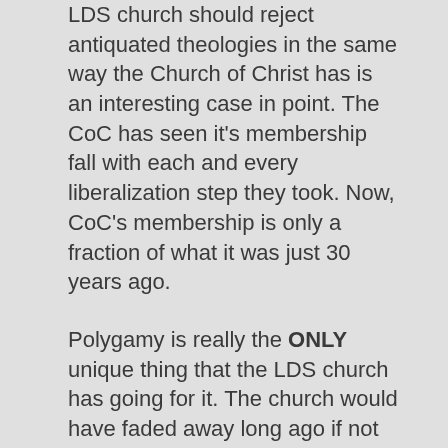LDS church should reject antiquated theologies in the same way the Church of Christ has is an interesting case in point. The CoC has seen it's membership fall with each and every liberalization step they took. Now, CoC's membership is only a fraction of what it was just 30 years ago.
Polygamy is really the ONLY unique thing that the LDS church has going for it. The church would have faded away long ago if not for polygamy and expunging it even now would be catastrophic to the future of the church membership numbers.
Of course, this is NOT to say that polygamy is “good” for the members